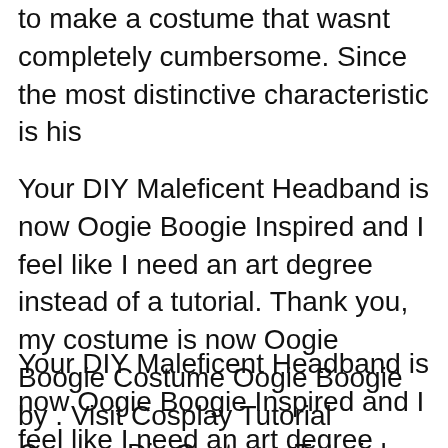to make a costume that wasn’t completely cumbersome. Since the most distinctive characteristic is his
Your DIY Maleficent Headband is now Oogie Boogie Inspired and I feel like I need an art degree instead of a tutorial. Thank you, my costume is now Oogie Boogie Costume Oogie Boogie by . Visit Cosplay Tutorial Cosplay Diy Costume Tutorial Cosplay Ideas Cosplay Costumes Diy Costumes Costume Ideas Simple
Your DIY Maleficent Headband is now Oogie Boogie Inspired and I feel like I need an art degree instead of a tutorial. Thank you, my costume is now Oogie